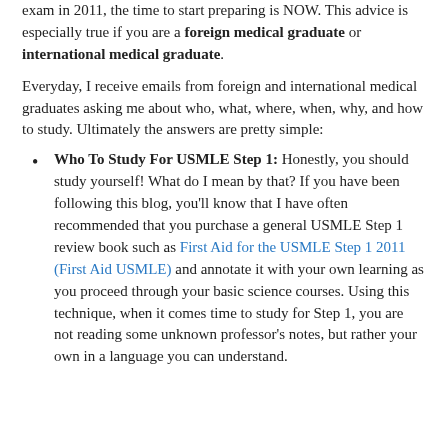exam in 2011, the time to start preparing is NOW. This advice is especially true if you are a foreign medical graduate or international medical graduate.
Everyday, I receive emails from foreign and international medical graduates asking me about who, what, where, when, why, and how to study. Ultimately the answers are pretty simple:
Who To Study For USMLE Step 1: Honestly, you should study yourself! What do I mean by that? If you have been following this blog, you'll know that I have often recommended that you purchase a general USMLE Step 1 review book such as First Aid for the USMLE Step 1 2011 (First Aid USMLE) and annotate it with your own learning as you proceed through your basic science courses. Using this technique, when it comes time to study for Step 1, you are not reading some unknown professor's notes, but rather your own in a language you can understand.